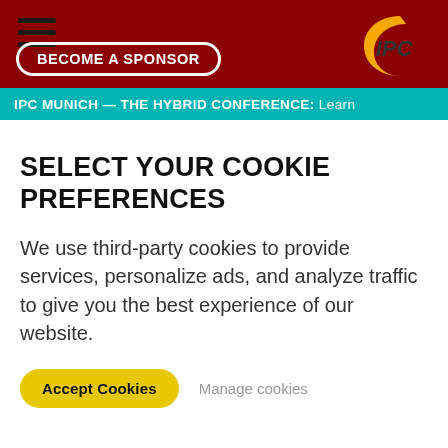BECOME A SPONSOR | IPC MUNICH — THE HYBRID CONFERENCE: Learn
SELECT YOUR COOKIE PREFERENCES
We use third-party cookies to provide services, personalize ads, and analyze traffic to give you the best experience of our website.
Accept Cookies   Manage cookies